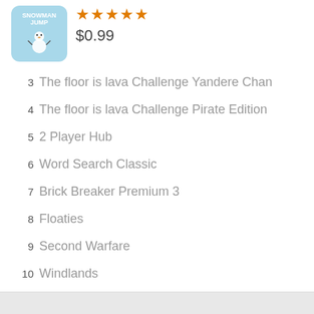[Figure (illustration): Snowman Jump app icon — light blue background with snowman character]
★★★★★ $0.99
3  The floor is lava Challenge Yandere Chan
4  The floor is lava Challenge Pirate Edition
5  2 Player Hub
6  Word Search Classic
7  Brick Breaker Premium 3
8  Floaties
9  Second Warfare
10  Windlands
Copyright © 2017-2018. All Rights Reserved.  About us  |  Link us  |  Services  |  Privacy  |  Sitemap  |  Feedback  |  Language:  Arrayen